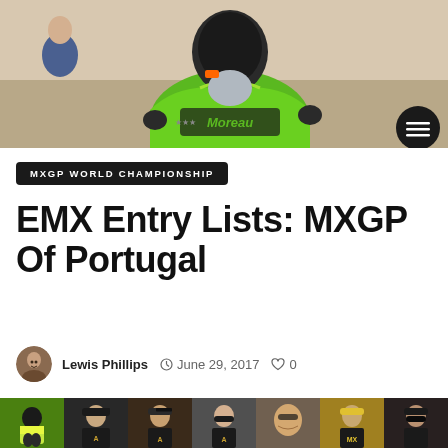[Figure (photo): Motocross rider seen from behind wearing a green Kawasaki jersey with 'Moreau' branding and a helmet, with a circular hamburger menu button overlaid in the bottom right corner]
MXGP WORLD CHAMPIONSHIP
EMX Entry Lists: MXGP Of Portugal
Lewis Phillips  © June 29, 2017  ♡ 0
[Figure (photo): Horizontal strip of seven small photos showing various motocross riders and people associated with MXGP]